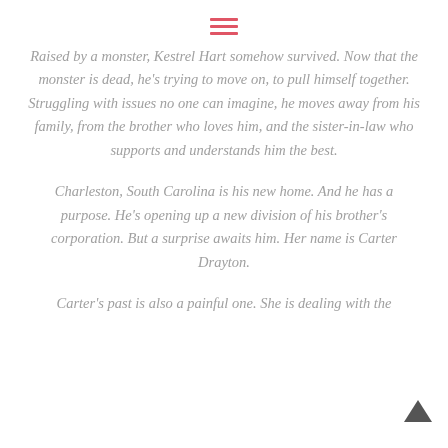≡
Raised by a monster, Kestrel Hart somehow survived. Now that the monster is dead, he's trying to move on, to pull himself together. Struggling with issues no one can imagine, he moves away from his family, from the brother who loves him, and the sister-in-law who supports and understands him the best.
Charleston, South Carolina is his new home. And he has a purpose. He's opening up a new division of his brother's corporation. But a surprise awaits him. Her name is Carter Drayton.
Carter's past is also a painful one. She is dealing with the